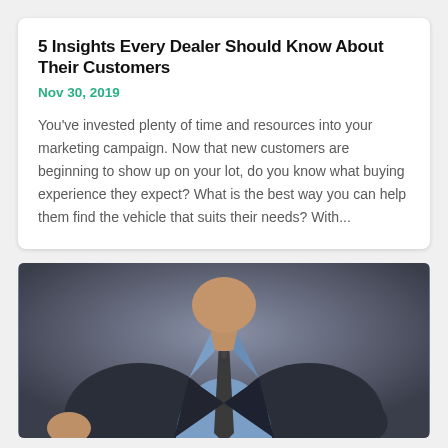5 Insights Every Dealer Should Know About Their Customers
Nov 30, 2019
You've invested plenty of time and resources into your marketing campaign. Now that new customers are beginning to show up on your lot, do you know what buying experience they expect? What is the best way you can help them find the vehicle that suits their needs? With...
[Figure (photo): A man in a dark suit and tie with a light blue dress shirt, photographed from the shoulders up against a dark gradient background, reaching forward slightly.]